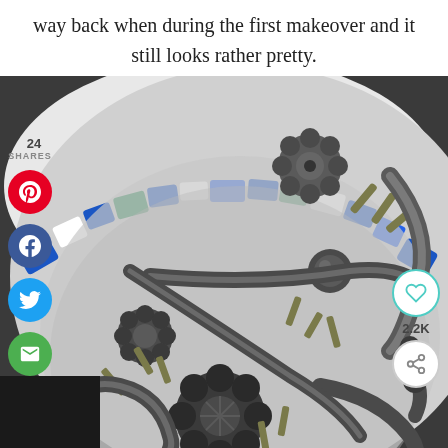way back when during the first makeover and it still looks rather pretty.
[Figure (photo): Close-up photo of decorative metallic hardware pieces (floral knobs, ornate brackets, screws) displayed inside a ceramic bowl with blue and green geometric pattern rim. The metal pieces are painted in a pewter/gunmetal finish.]